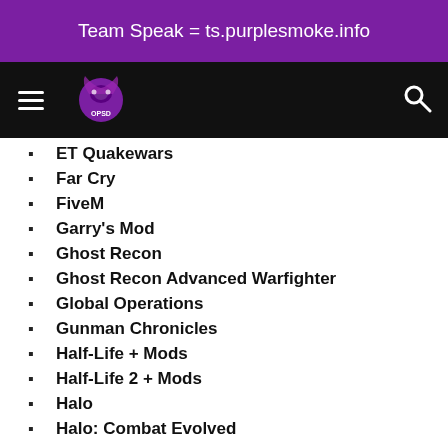Team Speak = ts.purplesmoke.info
ET Quakewars
Far Cry
FiveM
Garry's Mod
Ghost Recon
Ghost Recon Advanced Warfighter
Global Operations
Gunman Chronicles
Half-Life + Mods
Half-Life 2 + Mods
Halo
Halo: Combat Evolved